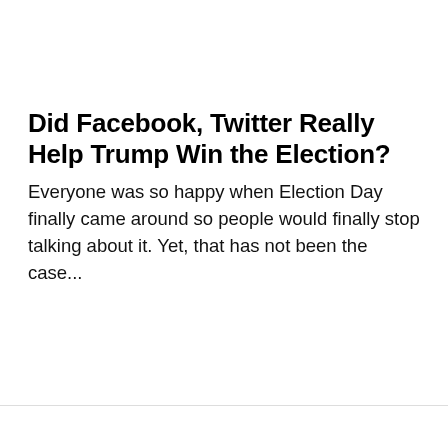Did Facebook, Twitter Really Help Trump Win the Election?
Everyone was so happy when Election Day finally came around so people would finally stop talking about it. Yet, that has not been the case...